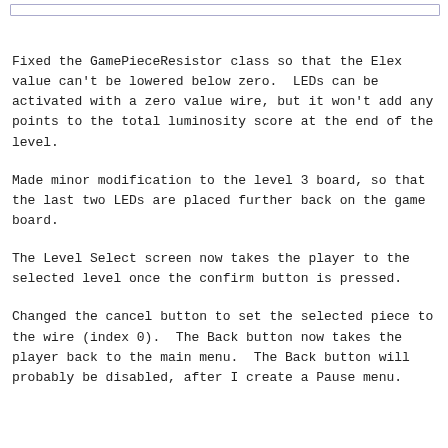Fixed the GamePieceResistor class so that the Elex value can't be lowered below zero.  LEDs can be activated with a zero value wire, but it won't add any points to the total luminosity score at the end of the level.
Made minor modification to the level 3 board, so that the last two LEDs are placed further back on the game board.
The Level Select screen now takes the player to the selected level once the confirm button is pressed.
Changed the cancel button to set the selected piece to the wire (index 0).  The Back button now takes the player back to the main menu.  The Back button will probably be disabled, after I create a Pause menu.